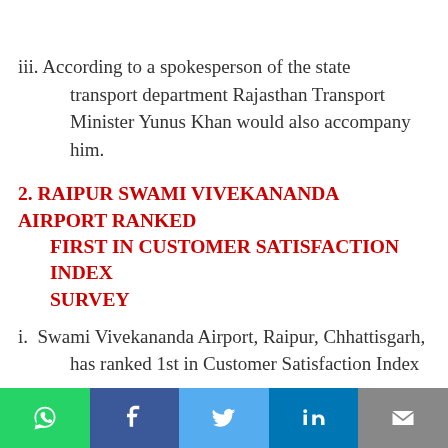iii. According to a spokesperson of the state transport department Rajasthan Transport Minister Yunus Khan would also accompany him.
2. RAIPUR SWAMI VIVEKANANDA AIRPORT RANKED FIRST IN CUSTOMER SATISFACTION INDEX SURVEY
i. Swami Vivekananda Airport, Raipur, Chhattisgarh, has ranked 1st in Customer Satisfaction Index